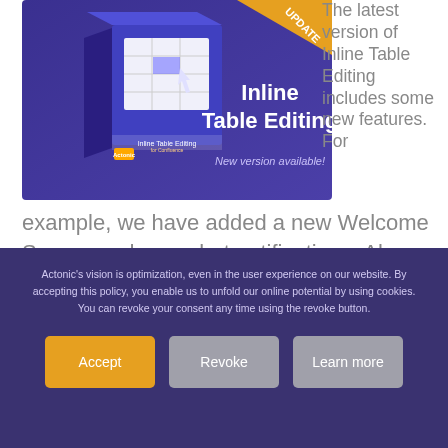[Figure (screenshot): Product box image for 'Inline Table Editing' software, purple/blue box with table grid icon, 'New version available!' tagline, and an orange 'UPDATE' ribbon banner in the top right corner.]
The latest version of Inline Table Editing includes some new features. For example, we have added a new Welcome Screen and new alert notifications. Also, the app is now available in German language. In addition, some bugs have been fixed.
Read more...
Actonic's vision is optimization, even in the user experience on our website. By accepting this policy, you enable us to unfold our online potential by using cookies. You can revoke your consent any time using the revoke button.